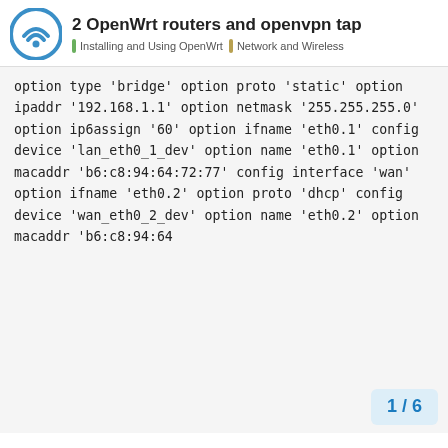2 OpenWrt routers and openvpn tap | Installing and Using OpenWrt | Network and Wireless
option type 'bridge'
    option proto 'static'
    option ipaddr '192.168.1.1'
    option netmask '255.255.255.0'
    option ip6assign '60'
    option ifname 'eth0.1'

config device 'lan_eth0_1_dev'
    option name 'eth0.1'
    option macaddr 'b6:c8:94:64:72:77'

config interface 'wan'
    option ifname 'eth0.2'
    option proto 'dhcp'

config device 'wan_eth0_2_dev'
    option name 'eth0.2'
    option macaddr 'b6:c8:94:64...
1 / 6